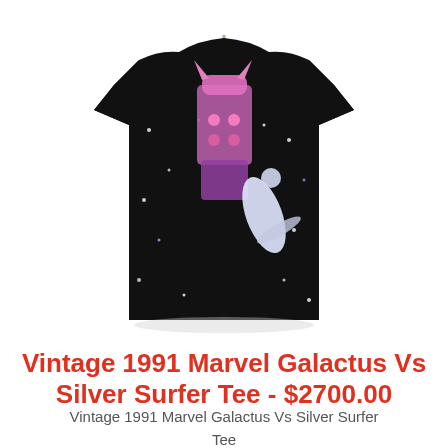[Figure (photo): A vintage black t-shirt on a hanger featuring a Marvel Galactus vs Silver Surfer graphic print with stars/space design on a white background]
Vintage 1991 Marvel Galactus Vs Silver Surfer Tee - $2700.00
Vintage 1991 Marvel Galactus Vs Silver Surfer Tee